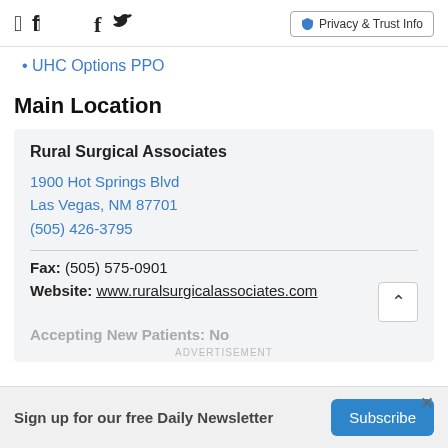Facebook | Twitter | Privacy & Trust Info
UHC Options PPO
Main Location
Rural Surgical Associates
1900 Hot Springs Blvd
Las Vegas, NM 87701
(505) 426-3795
Fax: (505) 575-0901
Website: www.ruralsurgicalassociates.com
Accepting New Patients: No
ADVERTISEMENT
Sign up for our free Daily Newsletter